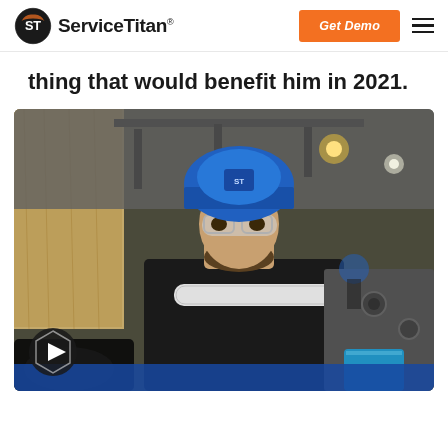ServiceTitan | Get Demo
thing that would benefit him in 2021.
[Figure (photo): A man wearing a blue hard hat with a logo, safety glasses, and a black t-shirt, focused on a pipe fitting task in an industrial/trade show environment. Tools and equipment are visible in the foreground and background.]